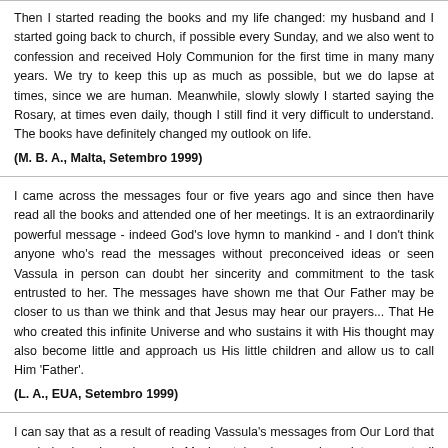Then I started reading the books and my life changed: my husband and I started going back to church, if possible every Sunday, and we also went to confession and received Holy Communion for the first time in many many years. We try to keep this up as much as possible, but we do lapse at times, since we are human. Meanwhile, slowly slowly I started saying the Rosary, at times even daily, though I still find it very difficult to understand. The books have definitely changed my outlook on life.
(M. B. A., Malta, Setembro 1999)
I came across the messages four or five years ago and since then have read all the books and attended one of her meetings. It is an extraordinarily powerful message - indeed God's love hymn to mankind - and I don't think anyone who's read the messages without preconceived ideas or seen Vassula in person can doubt her sincerity and commitment to the task entrusted to her. The messages have shown me that Our Father may be closer to us than we think and that Jesus may hear our prayers... That He who created this infinite Universe and who sustains it with His thought may also become little and approach us His little children and allow us to call Him 'Father'.
(L. A., EUA, Setembro 1999)
I can say that as a result of reading Vassula's messages from Our Lord that my behaviour has changed. My heart has been enlarged to accept all Christians as part of the body of Christ and I feel that the Holy Spirit is more active in me than before. My faith has deepened.